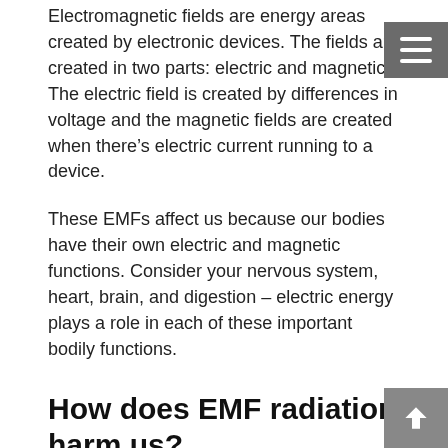Electromagnetic fields are energy areas created by electronic devices. The fields are created in two parts: electric and magnetic. The electric field is created by differences in voltage and the magnetic fields are created when there's electric current running to a device.
These EMFs affect us because our bodies have their own electric and magnetic functions. Consider your nervous system, heart, brain, and digestion – electric energy plays a role in each of these important bodily functions.
How does EMF radiation harm us?
While we need more research on the impacts of low-frequency EMFs on the body, scientists have found they are able to affect plasma membranes in living cells, which can influence important channels in the body. Your cells communicate with the rest of your body by passing chemicals across cell membranes. This communication